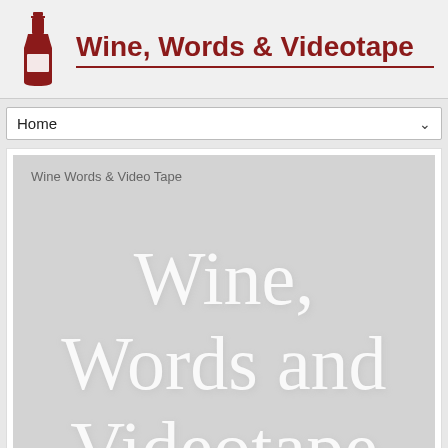Wine, Words & Videotape
Home
[Figure (screenshot): Book or video cover thumbnail showing text 'Wine Words & Video Tape' at top and large white serif text 'Wine, Words and Videotape' on a light gray background]
Wine, Words and Videotape